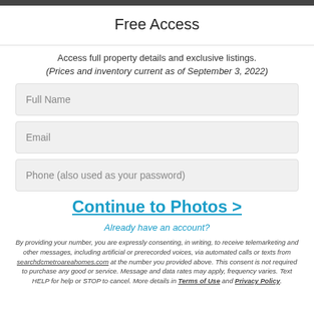Free Access
Access full property details and exclusive listings.
(Prices and inventory current as of September 3, 2022)
Full Name
Email
Phone (also used as your password)
Continue to Photos >
Already have an account?
By providing your number, you are expressly consenting, in writing, to receive telemarketing and other messages, including artificial or prerecorded voices, via automated calls or texts from searchdcmetroareahomes.com at the number you provided above. This consent is not required to purchase any good or service. Message and data rates may apply, frequency varies. Text HELP for help or STOP to cancel. More details in Terms of Use and Privacy Policy.